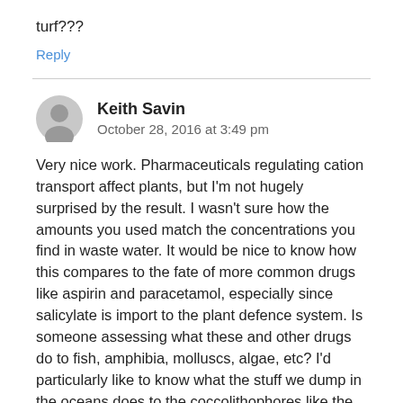turf???
Reply
Keith Savin
October 28, 2016 at 3:49 pm
Very nice work. Pharmaceuticals regulating cation transport affect plants, but I'm not hugely surprised by the result. I wasn't sure how the amounts you used match the concentrations you find in waste water. It would be nice to know how this compares to the fate of more common drugs like aspirin and paracetamol, especially since salicylate is import to the plant defence system. Is someone assessing what these and other drugs do to fish, amphibia, molluscs, algae, etc? I'd particularly like to know what the stuff we dump in the oceans does to the coccolithophores like the